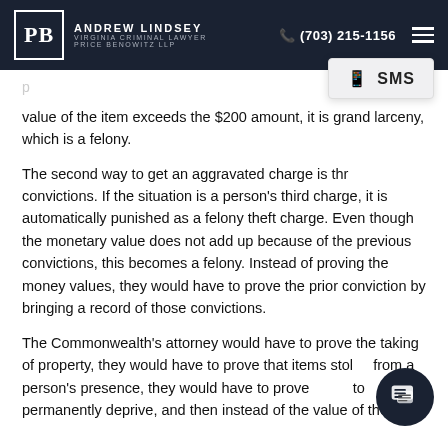Andrew Lindsey | Virginia Criminal Lawyer | Price Benowitz LLP | (703) 215-1156
value of the item exceeds the $200 amount, it is grand larceny, which is a felony.
The second way to get an aggravated charge is through convictions. If the situation is a person's third charge, it is automatically punished as a felony theft charge. Even though the monetary value does not add up because of the previous convictions, this becomes a felony. Instead of proving the money values, they would have to prove the prior conviction by bringing a record of those convictions.
The Commonwealth's attorney would have to prove the taking of property, they would have to prove that items stolen from a person's presence, they would have to prove to permanently deprive, and then instead of the value of the